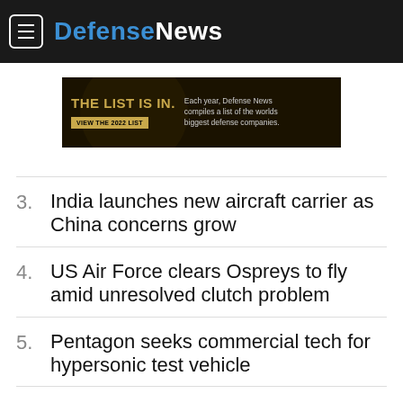DefenseNews
[Figure (infographic): Advertisement banner: 'THE LIST IS IN. Each year, Defense News compiles a list of the worlds biggest defense companies. VIEW THE 2022 LIST']
3. India launches new aircraft carrier as China concerns grow
4. US Air Force clears Ospreys to fly amid unresolved clutch problem
5. Pentagon seeks commercial tech for hypersonic test vehicle